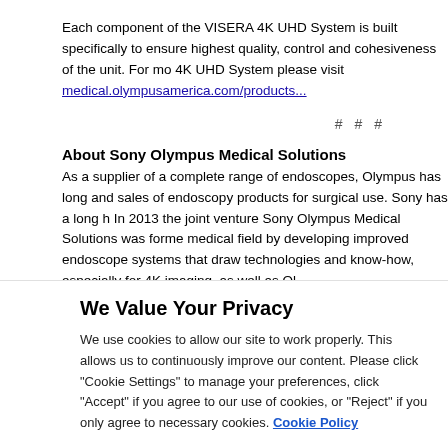Each component of the VISERA 4K UHD System is built specifically to ensure highest quality, control and cohesiveness of the unit. For more information on the VISERA 4K UHD System please visit medical.olympusamerica.com/products...
# # #
About Sony Olympus Medical Solutions
As a supplier of a complete range of endoscopes, Olympus has long been involved in the development and sales of endoscopy products for surgical use. Sony has a long history in imaging and display. In 2013 the joint venture Sony Olympus Medical Solutions was formed to contribute to the medical field by developing improved endoscope systems that draw on Sony's imaging technologies and know-how, especially for 4K imaging, as well as Olympus its experience in medical equipment manufacture and development.
We Value Your Privacy
We use cookies to allow our site to work properly. This allows us to continuously improve our content. Please click "Cookie Settings" to manage your preferences, click "Accept" if you agree to our use of cookies, or "Reject" if you only agree to necessary cookies. Cookie Policy